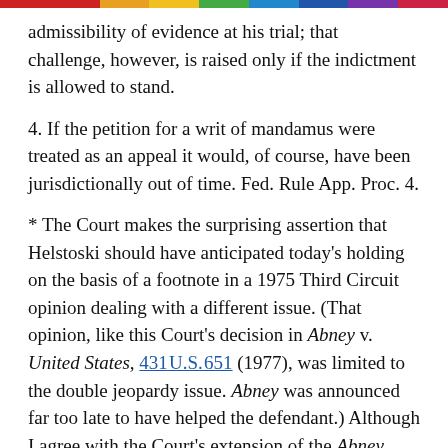admissibility of evidence at his trial; that challenge, however, is raised only if the indictment is allowed to stand.
4. If the petition for a writ of mandamus were treated as an appeal it would, of course, have been jurisdictionally out of time. Fed. Rule App. Proc. 4.
* The Court makes the surprising assertion that Helstoski should have anticipated today's holding on the basis of a footnote in a 1975 Third Circuit opinion dealing with a different issue. (That opinion, like this Court's decision in Abney v. United States, 431 U.S. 651 (1977), was limited to the double jeopardy issue. Abney was announced far too late to have helped the defendant.) Although I agree with the Court's extension of the Abney principle from double jeopardy claims to those based upon the Speech or Debate Clause, I do not regard the extension as obvious. Nor, apparently, does the Government, as it carefully